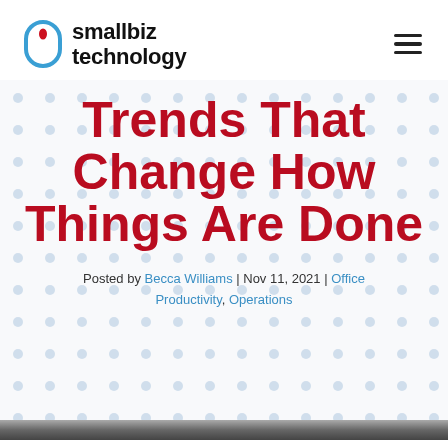smallbiz technology
Trends That Change How Things Are Done
Posted by Becca Williams | Nov 11, 2021 | Office Productivity, Operations